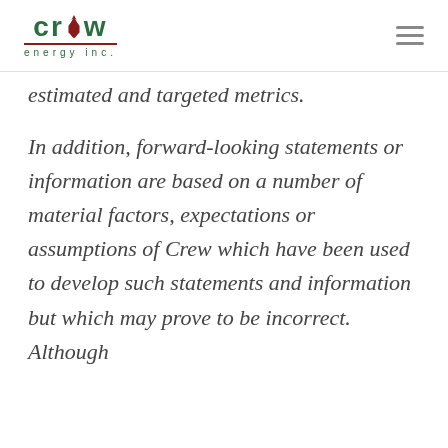Crew Energy Inc.
estimated and targeted metrics.
In addition, forward-looking statements or information are based on a number of material factors, expectations or assumptions of Crew which have been used to develop such statements and information but which may prove to be incorrect. Although